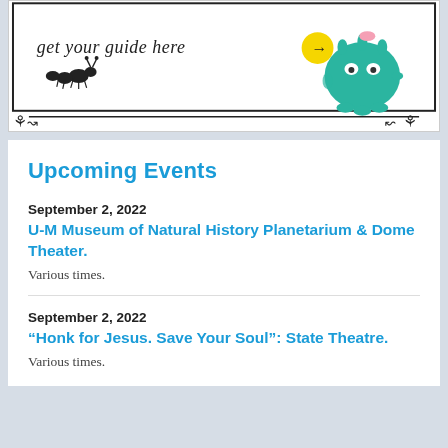[Figure (illustration): Cartoon illustration inside a bordered box showing 'get your guide here' text with an arrow in a yellow circle, a cartoon ant, and a teal/green round creature character, with decorative flourishes at the bottom border.]
Upcoming Events
September 2, 2022
U-M Museum of Natural History Planetarium & Dome Theater.
Various times.
September 2, 2022
“Honk for Jesus. Save Your Soul”: State Theatre.
Various times.